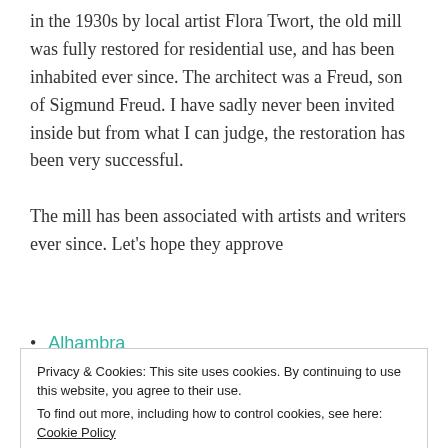in the 1930s by local artist Flora Twort, the old mill was fully restored for residential use, and has been inhabited ever since. The architect was a Freud, son of Sigmund Freud. I have sadly never been invited inside but from what I can judge, the restoration has been very successful.
The mill has been associated with artists and writers ever since. Let's hope they approve
Alhambra
Amsterdam
Privacy & Cookies: This site uses cookies. By continuing to use this website, you agree to their use.
To find out more, including how to control cookies, see here: Cookie Policy
Arles